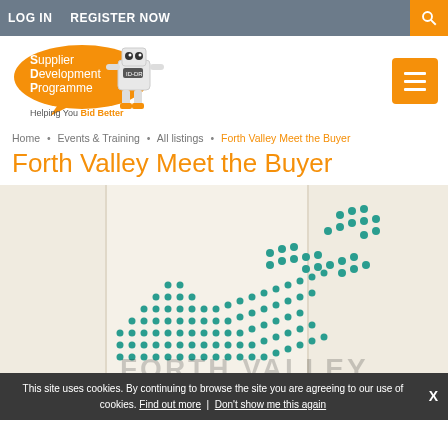LOG IN  REGISTER NOW
[Figure (logo): Supplier Development Programme logo with robot mascot and text 'Helping You Bid Better']
Home • Events & Training • All listings • Forth Valley Meet the Buyer
Forth Valley Meet the Buyer
[Figure (illustration): Forth Valley Meet the Buyer event promotional image with teal dot-matrix text pattern on cream/tan background]
This site uses cookies. By continuing to browse the site you are agreeing to our use of cookies. Find out more | Don't show me this again  X